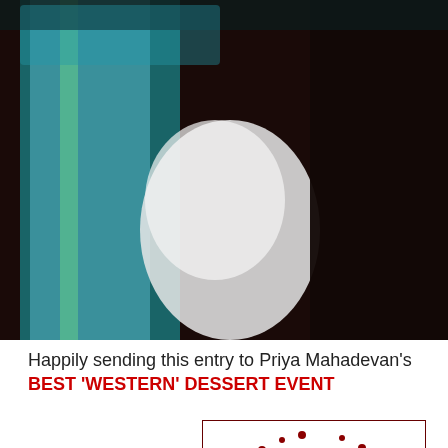[Figure (photo): Close-up blurred photo of a dessert or beverage with teal/green and dark brown tones, blurred white cream or foam, and dark chocolate coloring]
Happily sending this entry to Priya Mahadevan's BEST 'WESTERN' DESSERT EVENT
[Figure (photo): Event badge/logo for Best Western Desserts Valentine's Special Event showing a chocolate heart surrounded by small red hearts on white background, with text: BEST "WESTERN" DESSERTS VALENTINE'S SPECIAL EVENT CHEZ http://privasnowserving.blogspot.com]